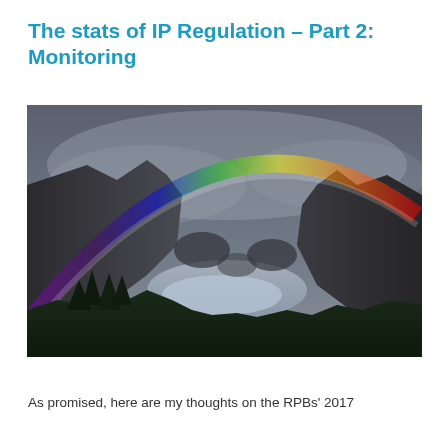The stats of IP Regulation – Part 2: Monitoring
[Figure (photo): Landscape photograph of a rainbow arching over a misty mountain valley with a glacier or river visible below and dark rocky slopes on either side, with green trees in the foreground]
As promised, here are my thoughts on the RPBs' 2017